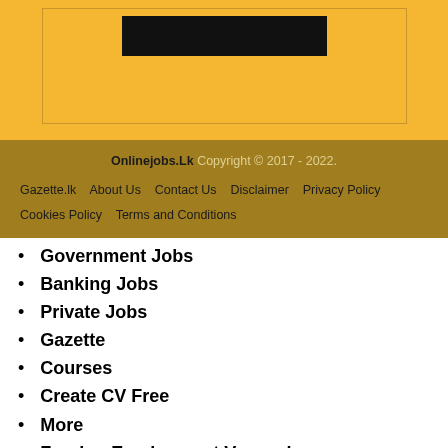[Figure (other): Yellow banner with a dark/black rectangle logo placeholder at the top]
Onlinejobs.Lk Copyright © 2017 - 2022.
Gazette.lk  About Us  Contact Us  Disclaimer  Privacy Policy  Cookies Policy  Terms and Conditions
Government Jobs
Banking Jobs
Private Jobs
Gazette
Courses
Create CV Free
More
Foreign Employment Vacancies
Past Papers
[Figure (screenshot): Enable Notifications popup bar with OK and No buttons]
Teachers Guide Syllabus
Examinations